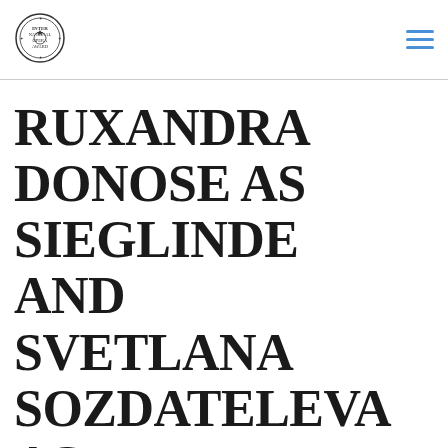[Logo] [Navigation menu icon]
RUXANDRA DONOSE AS SIEGLINDE AND SVETLANA SOZDATELEVA AS BRÜNNHILDE WITH VALKYRIES IN LONDON PHILHARMONIC